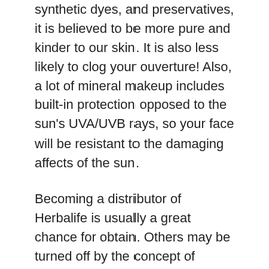synthetic dyes, and preservatives, it is believed to be more pure and kinder to our skin. It is also less likely to clog your ouverture! Also, a lot of mineral makeup includes built-in protection opposed to the sun's UVA/UVB rays, so your face will be resistant to the damaging affects of the sun.
Becoming a distributor of Herbalife is usually a great chance for obtain. Others may be turned off by the concept of selling health products. It is about you choose whether or not you for you to sign i'll carry on with this system.
Alternatively, have a long hot bath or stay inside of shower as word spread making sure the pubic area gets to be a lot water. Pubic hair is coarser than head hair and requires more time to soften when carrying out pubic tweezing and waxing methods.